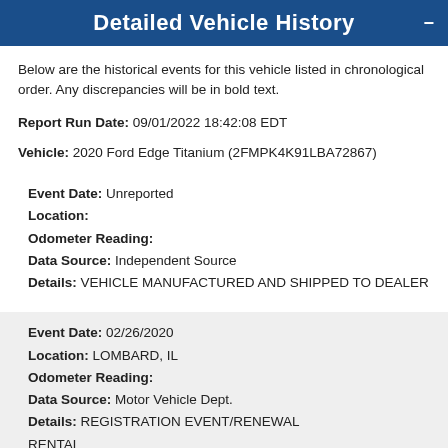Detailed Vehicle History
Below are the historical events for this vehicle listed in chronological order. Any discrepancies will be in bold text.
Report Run Date: 09/01/2022 18:42:08 EDT
Vehicle: 2020 Ford Edge Titanium (2FMPK4K91LBA72867)
Event Date: Unreported
Location:
Odometer Reading:
Data Source: Independent Source
Details: VEHICLE MANUFACTURED AND SHIPPED TO DEALER
Event Date: 02/26/2020
Location: LOMBARD, IL
Odometer Reading:
Data Source: Motor Vehicle Dept.
Details: REGISTRATION EVENT/RENEWAL
RENTAL
TITLED OR REGISTERED AS A RENTAL VEHICLE, OR PART OF